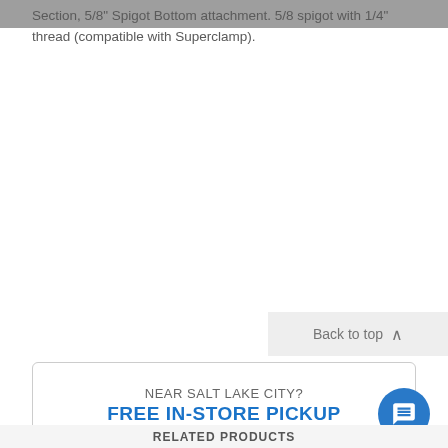Section, 5/8" Spigot Bottom attachment. 5/8 spigot with 1/4" thread (compatible with Superclamp).
Back to top
NEAR SALT LAKE CITY?
FREE IN-STORE PICKUP
in one hour or less!
RELATED PRODUCTS